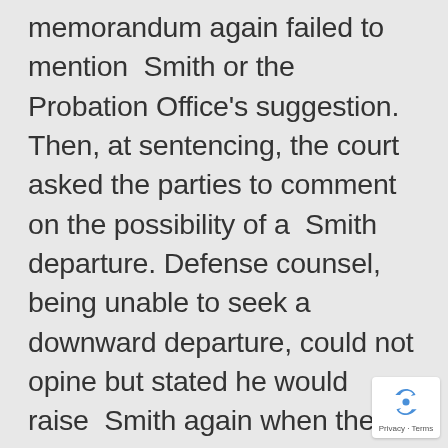memorandum again failed to mention Smith or the Probation Office's suggestion. Then, at sentencing, the court asked the parties to comment on the possibility of a Smith departure. Defense counsel, being unable to seek a downward departure, could not opine but stated he would raise Smith again when the court considered variances. When the time came, however, defense counsel did not raise Smith, choosing instead to rest on the arguments in his original sentencing memorandum."